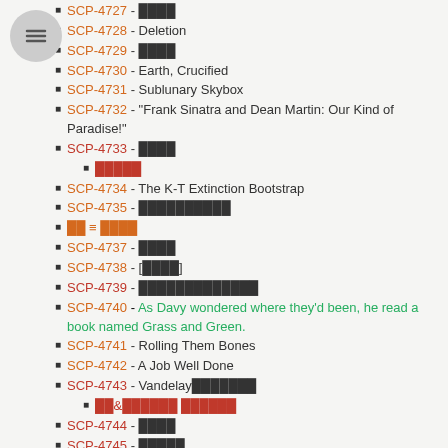[Figure (other): Circular menu/hamburger icon button]
SCP-4727 - ■■■■
SCP-4728 - Deletion
SCP-4729 - ■■■■
SCP-4730 - Earth, Crucified
SCP-4731 - Sublunary Skybox
SCP-4732 - "Frank Sinatra and Dean Martin: Our Kind of Paradise!"
SCP-4733 - ■■■■
■■■■■ (sub-item)
SCP-4734 - The K-T Extinction Bootstrap
SCP-4735 - ■■■■■■■■■■
■■ ≡ ■■■■
SCP-4737 - ■■■■
SCP-4738 - [■■■■]
SCP-4739 - ■■■■■■■■■■■■■
SCP-4740 - As Davy wondered where they'd been, he read a book named Grass and Green.
SCP-4741 - Rolling Them Bones
SCP-4742 - A Job Well Done
SCP-4743 - Vandelay■■■■■■■
■■&■■■■■■ ■■■■■■ (sub-item)
SCP-4744 - ■■■■
SCP-4745 - ■■■■■
SCP-4746 - ■■
SCP-4747 - ■■■■■■■■■■■■■■■■■■■■■■■■■■■■■■■■■■
SCP-4748 - ■■■■
SCP-4749 - Demoniacal Paper Towel Dispenser
SCP-4750 - The Little Tailor of Zanzibar